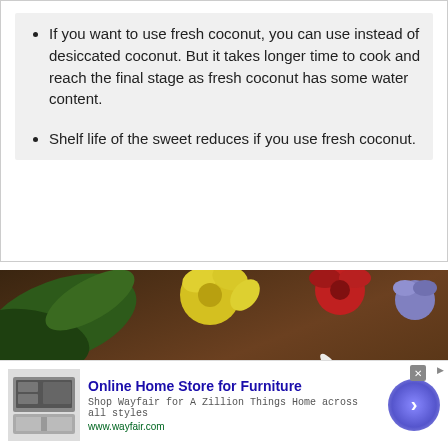If you want to use fresh coconut, you can use instead of desiccated coconut. But it takes longer time to cook and reach the final stage as fresh coconut has some water content.
Shelf life of the sweet reduces if you use fresh coconut.
[Figure (photo): Food photo showing a decorative silver plate with yellow sweet pieces, surrounded by green leaves, yellow flowers, red roses, white flower petals, and colorful glitter on a dark wooden surface.]
Online Home Store for Furniture
Shop Wayfair for A Zillion Things Home across all styles
www.wayfair.com